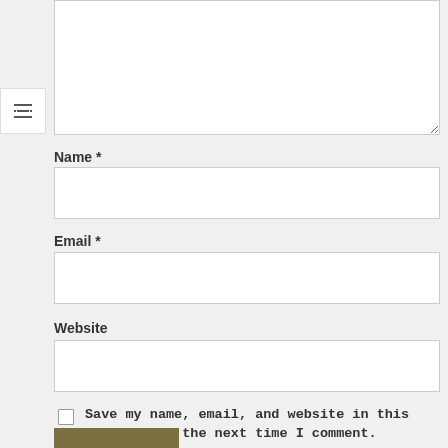[Figure (screenshot): Comment form textarea (partially visible at top)]
Name *
[Figure (screenshot): Name input field]
Email *
[Figure (screenshot): Email input field]
Website
[Figure (screenshot): Website input field]
Save my name, email, and website in this browser for the next time I comment.